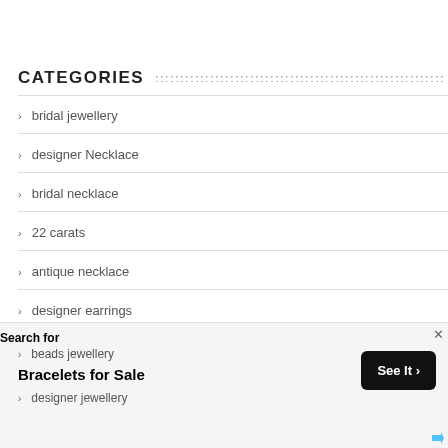CATEGORIES
bridal jewellery
designer Necklace
bridal necklace
22 carats
antique necklace
designer earrings
antique long chain
beads jewellery
designer jewellery
Search for
Bracelets for Sale
See It >